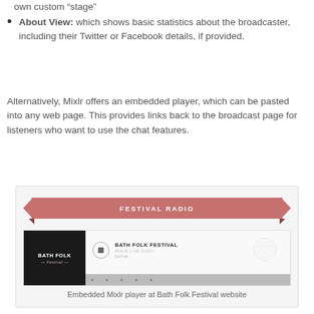own custom “stage”
About View: which shows basic statistics about the broadcaster, including their Twitter or Facebook details, if provided.
Alternatively, Mixlr offers an embedded player, which can be pasted into any web page. This provides links back to the broadcast page for listeners who want to use the chat features.
[Figure (screenshot): Screenshot of the Mixlr embedded player widget at Bath Folk Festival website, showing a ribbon banner reading 'FESTIVAL RADIO' and a player with Bath Folk Festival album art and metadata.]
Embedded Mixlr player at Bath Folk Festival website